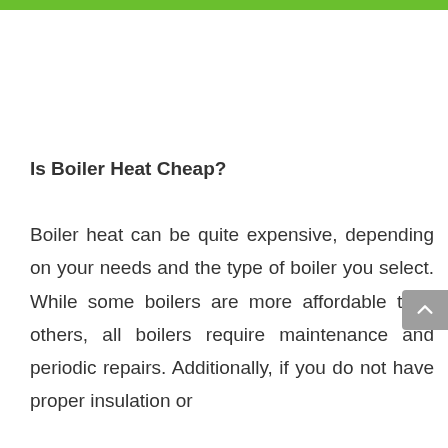Is Boiler Heat Cheap?
Boiler heat can be quite expensive, depending on your needs and the type of boiler you select. While some boilers are more affordable than others, all boilers require maintenance and periodic repairs. Additionally, if you do not have proper insulation or